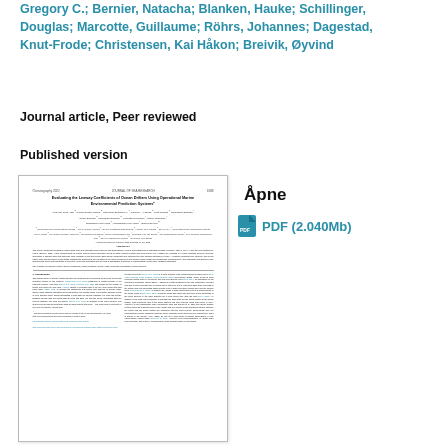Gregory C.; Bernier, Natacha; Blanken, Hauke; Schillinger, Douglas; Marcotte, Guillaume; Röhrs, Johannes; Dagestad, Knut-Frode; Christensen, Kai Håkon; Breivik, Øyvind
Journal article, Peer reviewed
Published version
[Figure (screenshot): Thumbnail preview of journal article titled 'Evaluating the Leeway Coefficients of Ocean Drifters Using Operational Marine Environmental Prediction Systems', showing title, authors, abstract, and introduction sections in a two-column layout.]
Åpne
PDF (2.040Mb)